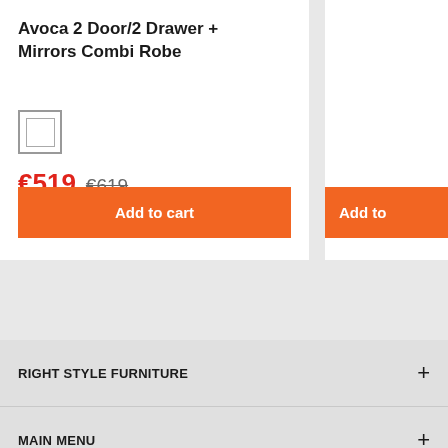Avoca 2 Door/2 Drawer + Mirrors Combi Robe
€519  €619
Add to cart
RIGHT STYLE FURNITURE
MAIN MENU